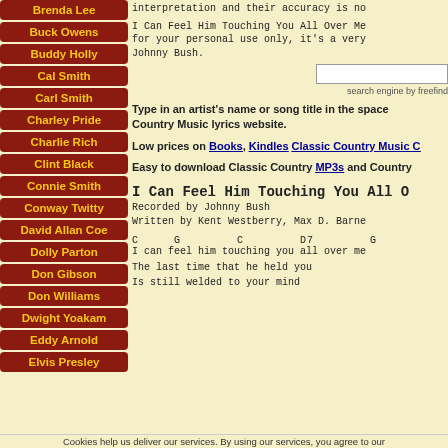Brenda Lee
Buck Owens
Buddy Holly
Cal Smith
Carl Smith
Charley Pride
Charlie Rich
Clint Black
Connie Smith
Conway Twitty
David Allan Coe
Dolly Parton
Don Gibson
Don Williams
Dwight Yoakam
Eddy Arnold
Elvis Presley
interpretation and their accuracy is no...
I Can Feel Him Touching You All Over Me for your personal use only, it's a very Johnny Bush.
Type in an artist's name or song title in the space... Country Music lyrics website.
Low prices on Books, Kindles Classic Country Music C...
Easy to download Classic Country MP3s and Country...
I Can Feel Him Touching You All O...
Recorded by Johnny Bush
Written by Kent Westberry, Max D. Barne...
C    G    C    D7    G
I can feel him touching you all over me...
The last time that he held you
Is still welded to your mind
Cookies help us deliver our services. By using our services, you agree to our...